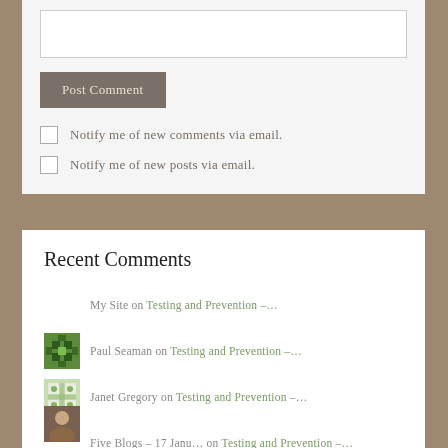[Figure (screenshot): Input text box (empty)]
Post Comment
Notify me of new comments via email.
Notify me of new posts via email.
Recent Comments
My Site on Testing and Prevention –…
Paul Seaman on Testing and Prevention –…
Janet Gregory on Testing and Prevention –…
Five Blogs – 17 Janu… on Testing and Prevention –…